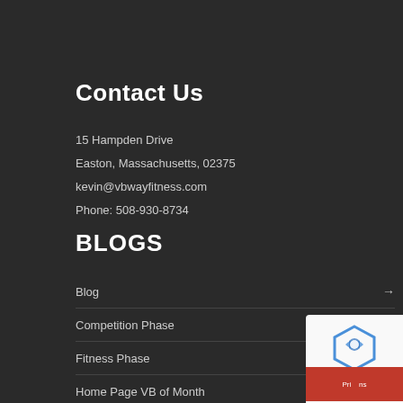Contact Us
15 Hampden Drive
Easton, Massachusetts, 02375
kevin@vbwayfitness.com
Phone: 508-930-8734
BLOGS
Blog →
Competition Phase →
Fitness Phase →
Home Page VB of Month →
[Figure (other): reCAPTCHA widget overlay in bottom right corner with blue and red colors]